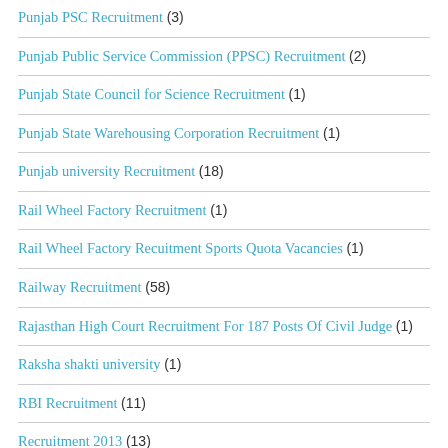Punjab PSC Recruitment (3)
Punjab Public Service Commission (PPSC) Recruitment (2)
Punjab State Council for Science Recruitment (1)
Punjab State Warehousing Corporation Recruitment (1)
Punjab university Recruitment (18)
Rail Wheel Factory Recruitment (1)
Rail Wheel Factory Recuitment Sports Quota Vacancies (1)
Railway Recruitment (58)
Rajasthan High Court Recruitment For 187 Posts Of Civil Judge (1)
Raksha shakti university (1)
RBI Recruitment (11)
Recruitment 2013 (13)